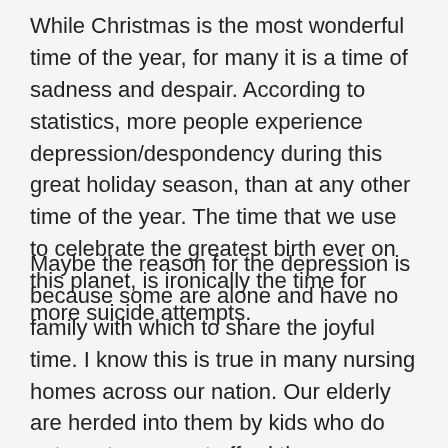While Christmas is the most wonderful time of the year, for many it is a time of sadness and despair. According to statistics, more people experience depression/despondency during this great holiday season, than at any other time of the year. The time that we use to celebrate the greatest birth ever on this planet, is ironically the time for more suicide attempts.
Maybe the reason for the depression is because some are alone and have no family with which to share the joyful time. I know this is true in many nursing homes across our nation. Our elderly are herded into them by kids who do not want or cannot afford the responsibility of caring for an aging parent. Unfortunately, many